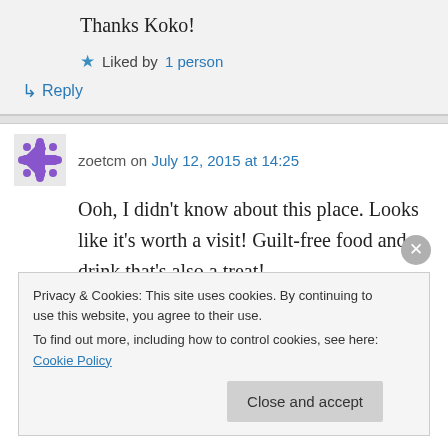Thanks Koko!
★ Liked by 1 person
↳ Reply
zoetcm on July 12, 2015 at 14:25
Ooh, I didn't know about this place. Looks like it's worth a visit! Guilt-free food and drink that's also a treat!
Privacy & Cookies: This site uses cookies. By continuing to use this website, you agree to their use.
To find out more, including how to control cookies, see here: Cookie Policy
Close and accept